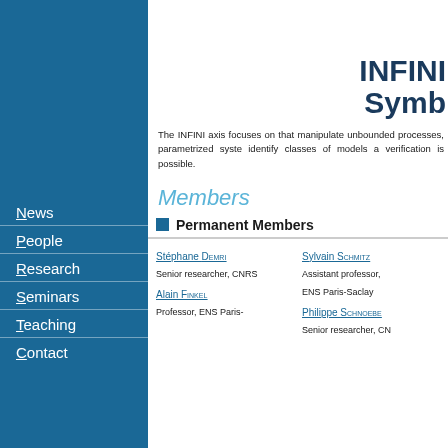News
People
Research
Seminars
Teaching
Contact
INFINI
Symb
The INFINI axis focuses on that manipulate unbounded processes, parametrized syste identify classes of models a verification is possible.
Members
Permanent Members
Stéphane Demri
Senior researcher, CNRS
Sylvain Schmitz
Assistant professor, ENS Paris-Saclay
Alain Finkel
Professor, ENS Paris-
Philippe Schnoebe
Senior researcher, CN